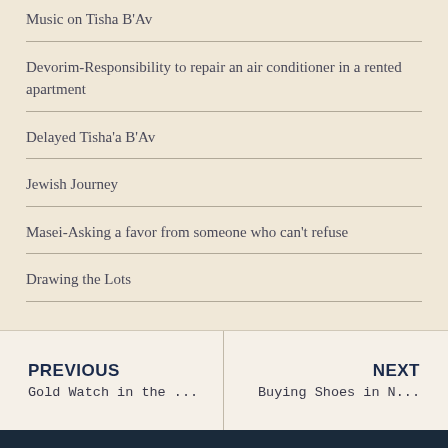Music on Tisha B’Av
Devorim-Responsibility to repair an air conditioner in a rented apartment
Delayed Tisha’a B’Av
Jewish Journey
Masei-Asking a favor from someone who can’t refuse
Drawing the Lots
PREVIOUS | Gold Watch in the ... | NEXT | Buying Shoes in N...